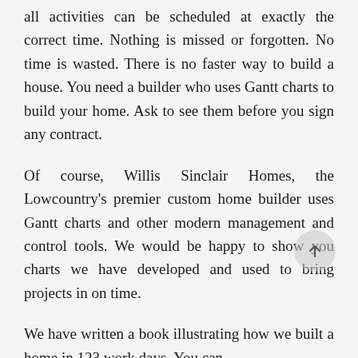all activities can be scheduled at exactly the correct time. Nothing is missed or forgotten. No time is wasted. There is no faster way to build a house. You need a builder who uses Gantt charts to build your home. Ask to see them before you sign any contract.
Of course, Willis Sinclair Homes, the Lowcountry's premier custom home builder uses Gantt charts and other modern management and control tools. We would be happy to show you charts we have developed and used to bring projects in on time.
We have written a book illustrating how we built a home in 123 work days. You can